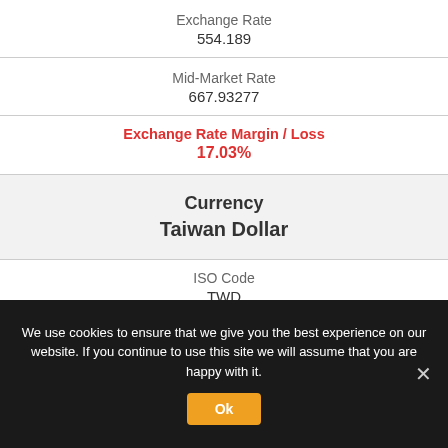Exchange Rate
554.189
Mid-Market Rate
667.93277
Exchange Rate Margin / Loss
17.03%
Currency
Taiwan Dollar
ISO Code
TWD
We use cookies to ensure that we give you the best experience on our website. If you continue to use this site we will assume that you are happy with it.